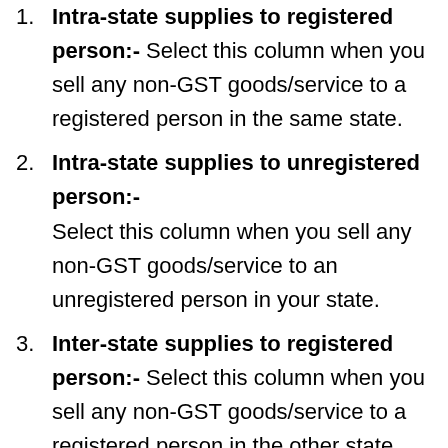Intra-state supplies to registered person:- Select this column when you sell any non-GST goods/service to a registered person in the same state.
Intra-state supplies to unregistered person:- Select this column when you sell any non-GST goods/service to an unregistered person in your state.
Inter-state supplies to registered person:- Select this column when you sell any non-GST goods/service to a registered person in the other state.
Inter-state supplies to unregistered person:- Select this column when you sell any non-GST goods/service to an unregistered person in other state.